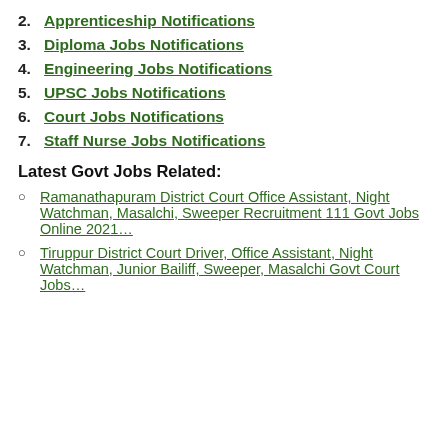2. Apprenticeship Notifications
3. Diploma Jobs Notifications
4. Engineering Jobs Notifications
5. UPSC Jobs Notifications
6. Court Jobs Notifications
7. Staff Nurse Jobs Notifications
Latest Govt Jobs Related:
Ramanathapuram District Court Office Assistant, Night Watchman, Masalchi, Sweeper Recruitment 111 Govt Jobs Online 2021…
Tiruppur District Court Driver, Office Assistant, Night Watchman, Junior Bailiff, Sweeper, Masalchi Govt Court Jobs…